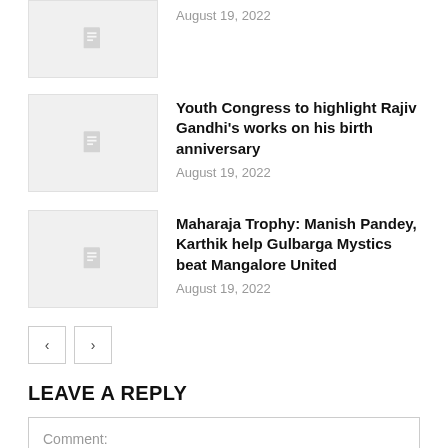[Figure (photo): Thumbnail placeholder image with document icon (partially visible at top)]
August 19, 2022
[Figure (photo): Thumbnail placeholder image with document icon]
Youth Congress to highlight Rajiv Gandhi's works on his birth anniversary
August 19, 2022
[Figure (photo): Thumbnail placeholder image with document icon]
Maharaja Trophy: Manish Pandey, Karthik help Gulbarga Mystics beat Mangalore United
August 19, 2022
LEAVE A REPLY
Comment: